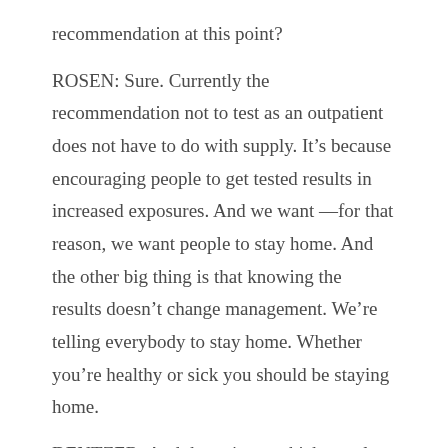recommendation at this point?
ROSEN: Sure. Currently the recommendation not to test as an outpatient does not have to do with supply. It's because encouraging people to get tested results in increased exposures. And we want —for that reason, we want people to stay home. And the other big thing is that knowing the results doesn't change management. We're telling everybody to stay home. Whether you're healthy or sick you should be staying home.
DENTZER: And the point at which people become sick enough that they should go to a